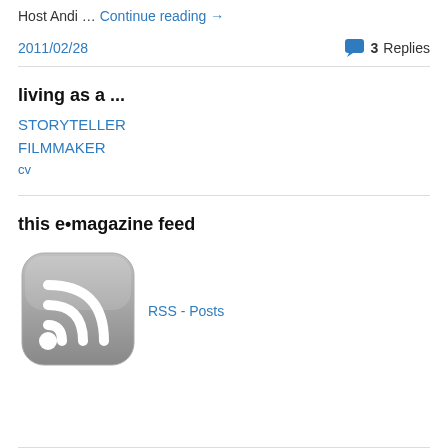Host Andi … Continue reading →
2011/02/28    💬 3 Replies
living as a ...
STORYTELLER
FILMMAKER
cv
this e•magazine feed
[Figure (other): RSS feed icon — rounded square with grey gradient background and white WiFi-style broadcast symbol]
RSS - Posts